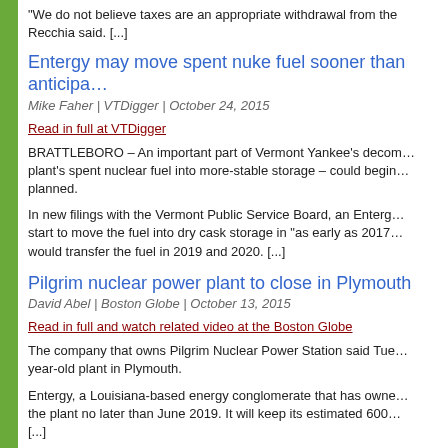“We do not believe taxes are an appropriate withdrawal from the… Recchia said. […]
Entergy may move spent nuke fuel sooner than anticipa…
Mike Faher | VTDigger | October 24, 2015
Read in full at VTDigger
BRATTLEBORO – An important part of Vermont Yankee’s decom… plant’s spent nuclear fuel into more-stable storage – could begin… planned.
In new filings with the Vermont Public Service Board, an Enterg… start to move the fuel into dry cask storage in “as early as 2017… would transfer the fuel in 2019 and 2020. […]
Pilgrim nuclear power plant to close in Plymouth
David Abel | Boston Globe | October 13, 2015
Read in full and watch related video at the Boston Globe
The company that owns Pilgrim Nuclear Power Station said Tue… year-old plant in Plymouth.
Entergy, a Louisiana-based energy conglomerate that has owne… the plant no later than June 2019. It will keep its estimated 600… […]